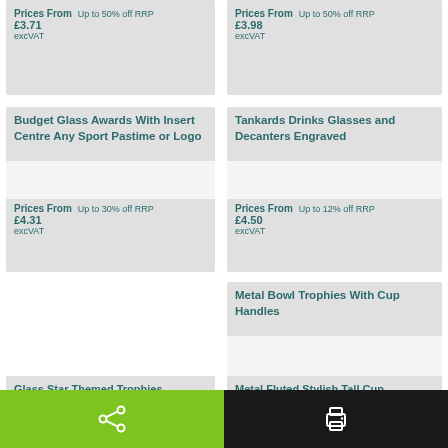Prices From £3.71 excVAT Up to 50% off RRP
Prices From £3.98 excVAT Up to 50% off RRP
Budget Glass Awards With Insert Centre Any Sport Pastime or Logo
Prices From £4.31 excVAT Up to 30% off RRP
Tankards Drinks Glasses and Decanters Engraved
Prices From £4.50 excVAT Up to 12% off RRP
Metal Bowl Trophies With Cup Handles
Prices From £4.54 excVAT Up to 50% off RRP
Glass Star Themed Trophies Engraved
Metal Fluted Stylish Tall Cup Awards